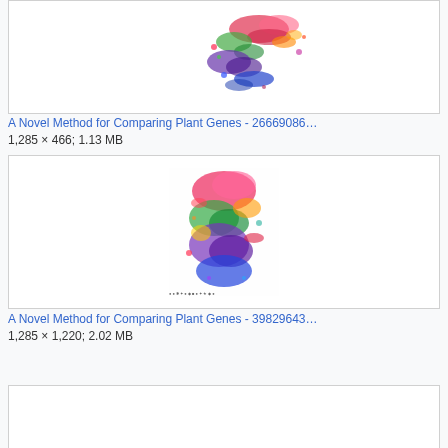[Figure (illustration): Colorful scatter plot visualization resembling a bird or organism shape, multi-colored dots forming a curved pattern, partially visible at top of page]
A Novel Method for Comparing Plant Genes - 26669086…
1,285 × 466; 1.13 MB
[Figure (illustration): Colorful scatter plot visualization resembling a bird or organism shape, multi-colored dots forming a rounder clustered pattern on white background with small text at bottom]
A Novel Method for Comparing Plant Genes - 39829643…
1,285 × 1,220; 2.02 MB
[Figure (illustration): Third image card, white background, content cut off at bottom of page]